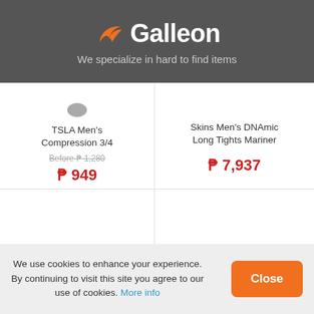[Figure (logo): Galleon logo with orange bird icon and white text 'Galleon' on dark grey background]
We specialize in hard to find items
TSLA Men's Compression 3/4
Before P 1,280
P 949
Skins Men's DNAmic Long Tights Mariner
P 7,937
Save 39%
We use cookies to enhance your experience. By continuing to visit this site you agree to our use of cookies. More info